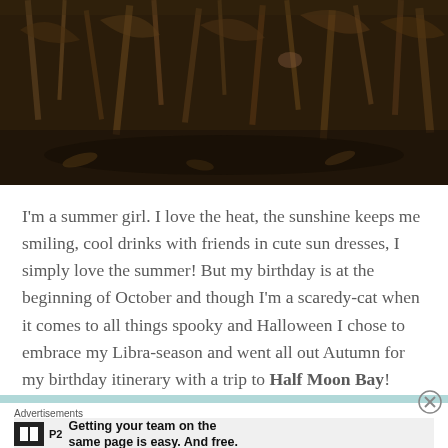[Figure (photo): Aerial or close-up view of dried corn stalks and dark soil, autumn/harvest scene]
I'm a summer girl. I love the heat, the sunshine keeps me smiling, cool drinks with friends in cute sun dresses, I simply love the summer! But my birthday is at the beginning of October and though I'm a scaredy-cat when it comes to all things spooky and Halloween I chose to embrace my Libra-season and went all out Autumn for my birthday itinerary with a trip to Half Moon Bay!
Advertisements
Getting your team on the same page is easy. And free.